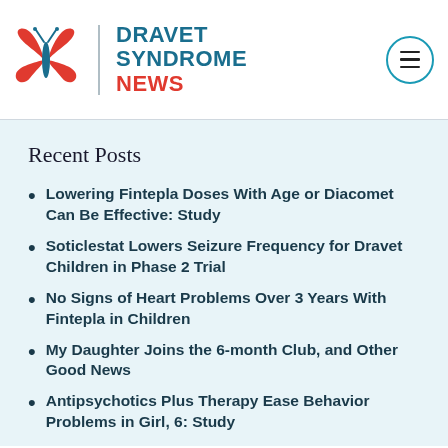Dravet Syndrome News
Recent Posts
Lowering Fintepla Doses With Age or Diacomet Can Be Effective: Study
Soticlestat Lowers Seizure Frequency for Dravet Children in Phase 2 Trial
No Signs of Heart Problems Over 3 Years With Fintepla in Children
My Daughter Joins the 6-month Club, and Other Good News
Antipsychotics Plus Therapy Ease Behavior Problems in Girl, 6: Study
List of Rare Diseases Tops 10,000 – and Is Growing – New Analysis Finds
Pantherx Pharmacy to Market Diacomit for